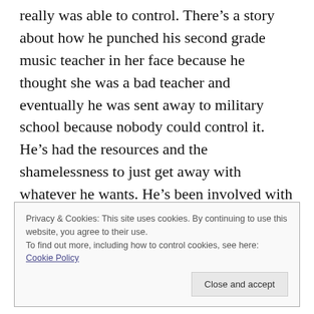really was able to control. There's a story about how he punched his second grade music teacher in her face because he thought she was a bad teacher and eventually he was sent away to military school because nobody could control it. He's had the resources and the shamelessness to just get away with whatever he wants. He's been involved with more than 4,000 lawsuits, either filing them or having them filed against him. So, with lawyers, he's just been able to hold people off from
Privacy & Cookies: This site uses cookies. By continuing to use this website, you agree to their use.
To find out more, including how to control cookies, see here: Cookie Policy
Close and accept